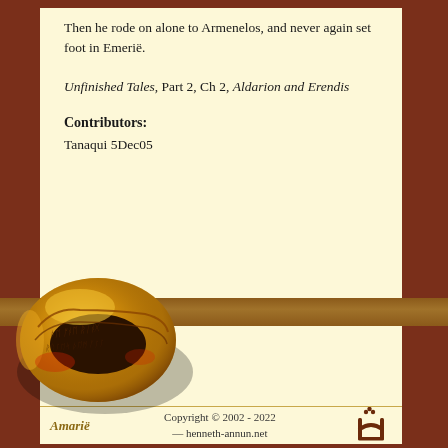Then he rode on alone to Armenelos, and never again set foot in Emerië.
Unfinished Tales, Part 2, Ch 2, Aldarion and Erendis
Contributors:
Tanaqui 5Dec05
[Figure (illustration): A golden ring (the One Ring) with elvish script inscription, photographed at an angle against the page background]
Amariё   Copyright © 2002 - 2022 — henneth-annun.net